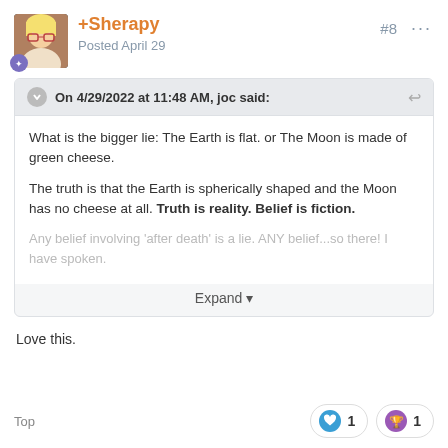+Sherapy  Posted April 29  #8
On 4/29/2022 at 11:48 AM, joc said:
What is the bigger lie:  The Earth is flat.   or   The Moon is made of green cheese.

The truth is that the Earth is spherically shaped and the Moon has no cheese at all.  Truth is reality.  Belief is fiction.

Any belief involving 'after death' is a lie.  ANY belief...so there! I have spoken.
Expand
Love this.
Top   ❤ 1   🏆 1